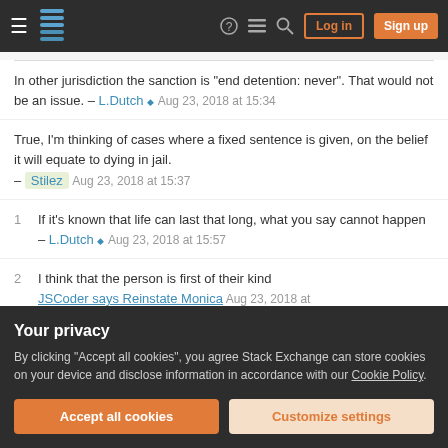Stack Exchange navigation bar with Log in and Sign up buttons
In other jurisdiction the sanction is "end detention: never". That would not be an issue. – L.Dutch ♦ Aug 23, 2018 at 15:34
True, I'm thinking of cases where a fixed sentence is given, on the belief it will equate to dying in jail. – Stilez Aug 23, 2018 at 15:37
1 If it's known that life can last that long, what you say cannot happen – L.Dutch ♦ Aug 23, 2018 at 15:57
2 I think that the person is first of their kind JSCoder says Reinstate Monica Aug 23, 2018 at
Your privacy
By clicking "Accept all cookies", you agree Stack Exchange can store cookies on your device and disclose information in accordance with our Cookie Policy.
Accept all cookies  Customize settings